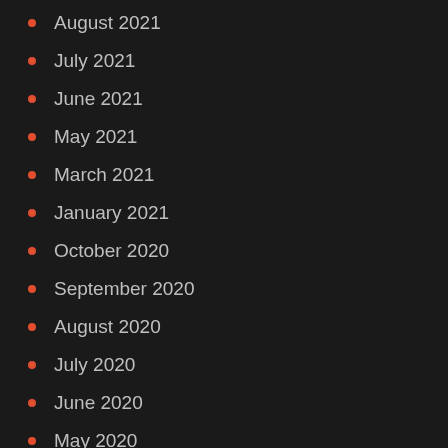August 2021
July 2021
June 2021
May 2021
March 2021
January 2021
October 2020
September 2020
August 2020
July 2020
June 2020
May 2020
March 2020
February 2020
January 2020